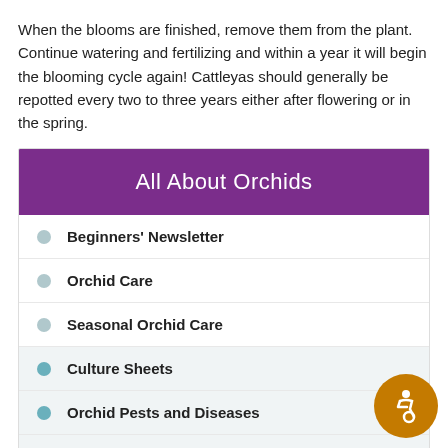When the blooms are finished, remove them from the plant. Continue watering and fertilizing and within a year it will begin the blooming cycle again! Cattleyas should generally be repotted every two to three years either after flowering or in the spring.
All About Orchids
Beginners' Newsletter
Orchid Care
Seasonal Orchid Care
Culture Sheets
Orchid Pests and Diseases
AOS Video Library